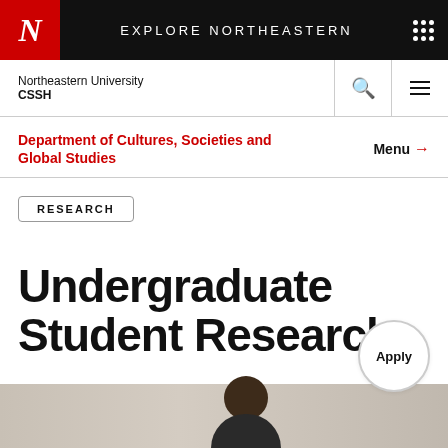EXPLORE NORTHEASTERN
Northeastern University CSSH
Department of Cultures, Societies and Global Studies
Menu →
RESEARCH
Undergraduate Student Research
[Figure (photo): Student studying or working, partial view of a person's head/hair visible at bottom of page]
Apply